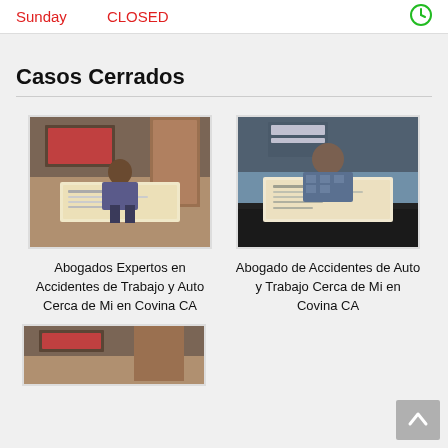Sunday   CLOSED
Casos Cerrados
[Figure (photo): Person holding a large check in an office setting - Abogados Expertos en Accidentes de Trabajo y Auto Cerca de Mi en Covina CA]
Abogados Expertos en Accidentes de Trabajo y Auto Cerca de Mi en Covina CA
[Figure (photo): Person holding a large check at a table - Abogado de Accidentes de Auto y Trabajo Cerca de Mi en Covina CA]
Abogado de Accidentes de Auto y Trabajo Cerca de Mi en Covina CA
[Figure (photo): Partial view of another case closed photo in an office setting]